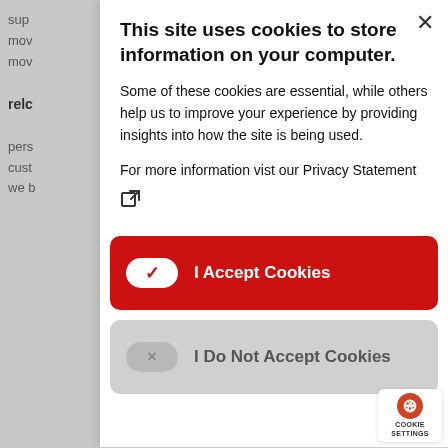sup
mov
mov
relc
pers
cust
we b
This site uses cookies to store information on your computer.
Some of these cookies are essential, while others help us to improve your experience by providing insights into how the site is being used.
For more information vist our Privacy Statement
[Figure (screenshot): I Accept Cookies button - red rounded rectangle with white toggle (checkmark on) and white bold text]
[Figure (screenshot): I Do Not Accept Cookies button - grey rounded rectangle with grey toggle (X) and grey bold text]
[Figure (logo): Cookie Settings badge - circular cookie icon in red circle above text COOKIE SETTINGS]